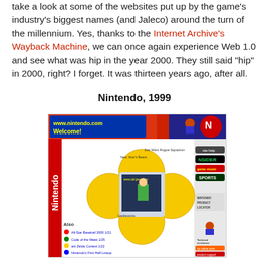take a look at some of the websites put up by the game's industry's biggest names (and Jaleco) around the turn of the millennium. Yes, thanks to the Internet Archive's Wayback Machine, we can once again experience Web 1.0 and see what was hip in the year 2000. They still said "hip" in 2000, right? I forget. It was thirteen years ago, after all.
Nintendo, 1999
[Figure (screenshot): Screenshot of the Nintendo.com website from 1999, showing the classic Nintendo web 1.0 design with yellow circular navigation buttons, Mario and Donkey Kong imagery, and sections including NSider, Sports, online store, product support, and corporate info links.]